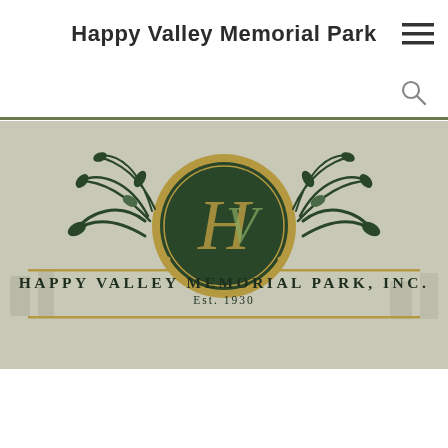Happy Valley Memorial Park
[Figure (logo): Happy Valley Memorial Park, Inc. Est. 1930 logo with ornate floral design and gold/dark green circle monogram, displayed on a cemetery photo background]